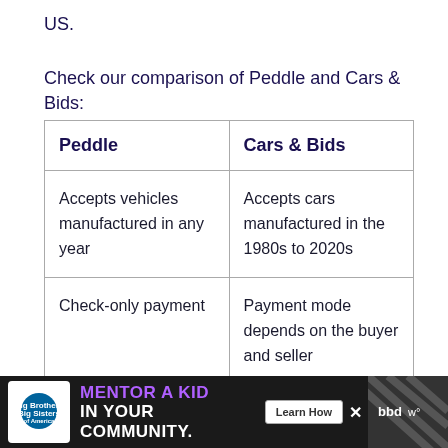US.
Check our comparison of Peddle and Cars & Bids:
| Peddle | Cars & Bids |
| --- | --- |
| Accepts vehicles manufactured in any year | Accepts cars manufactured in the 1980s to 2020s |
| Check-only payment | Payment mode depends on the buyer and seller |
| Requires physical inspection | Buyer can personally ... |